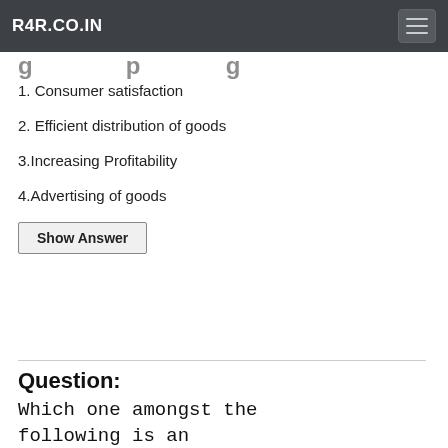R4R.CO.IN
1. Consumer satisfaction
2. Efficient distribution of goods
3.Increasing Profitability
4.Advertising of goods
Show Answer
Question:
Which one amongst the following is an example of internal